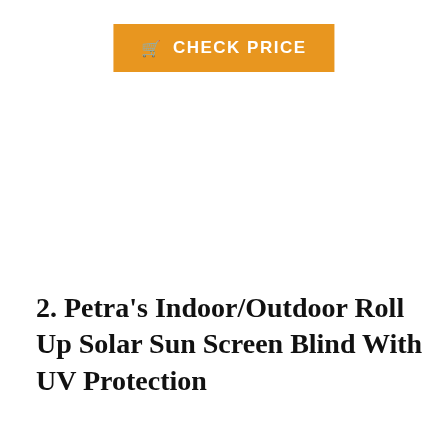[Figure (other): Orange 'CHECK PRICE' button with shopping cart icon]
2. Petra's Indoor/Outdoor Roll Up Solar Sun Screen Blind With UV Protection